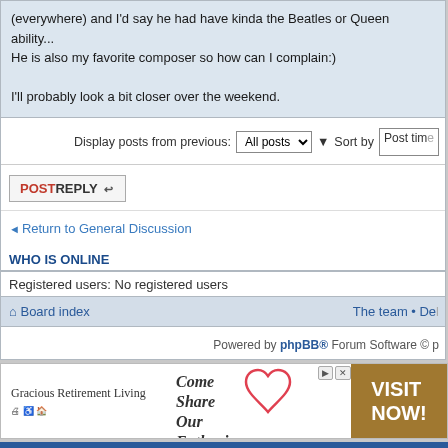(everywhere) and I'd say he had have kinda the Beatles or Queen ability... He is also my favorite composer so how can I complain:)

I'll probably look a bit closer over the weekend.
Display posts from previous: All posts Sort by Post time
POSTREPLY
Return to General Discussion
WHO IS ONLINE
Registered users: No registered users
Board index  •  The team • De...
Powered by phpBB® Forum Software © p...
[Figure (other): Advertisement for Gracious Retirement Living with tagline 'Come Share Our Enthusiasm.' and 'VISIT NOW!' button on gold background]